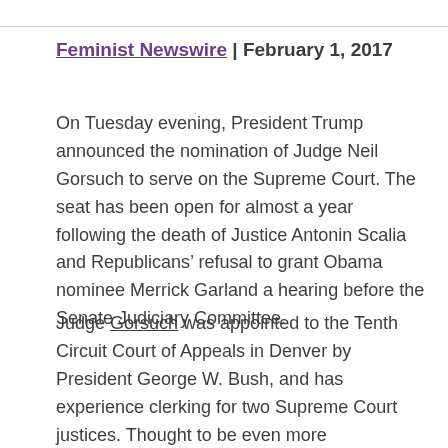Feminist Newswire | February 1, 2017
On Tuesday evening, President Trump announced the nomination of Judge Neil Gorsuch to serve on the Supreme Court. The seat has been open for almost a year following the death of Justice Antonin Scalia and Republicans’ refusal to grant Obama nominee Merrick Garland a hearing before the Senate Judiciary Committee.
Judge Gorsuch was appointed to the Tenth Circuit Court of Appeals in Denver by President George W. Bush, and has experience clerking for two Supreme Court justices. Thought to be even more conservative than Scalia, Gorsuch considers